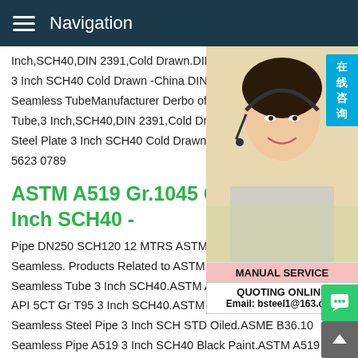Navigation
Inch,SCH40,DIN 2391,Cold Drawn.DIN 2... 3 Inch SCH40 Cold Drawn -China DIN 239... Seamless TubeManufacturer Derbo offers Tube,3 Inch,SCH40,DIN 2391,Cold Drawn... Steel Plate 3 Inch SCH40 Cold Drawn +86... 5623 0789
ASTM A519 Gr.1045 Carbon Inch SCH40 -
[Figure (photo): Customer service representative wearing a headset, smiling. Has a Chinese '在线咨询' badge overlay and MANUAL SERVICE / QUOTING ONLINE panel below.]
Pipe DN250 SCH120 12 MTRS ASTM A3... Seamless. Products Related to ASTM A519 Gr.1045 Carbon Seamless Tube 3 Inch SCH40.ASTM A519 Carbon SMLS Tube API 5CT Gr T95 3 Inch SCH40.ASTM A519 SAE/AISI 4140 Seamless Steel Pipe 3 Inch SCH STD Oiled.ASME B36.10 Seamless Pipe A519 3 Inch SCH40 Black Paint.ASTM A519 Gr.1045 Carbon Seamless Tube 3 Inch SCH40 -ASTM A519